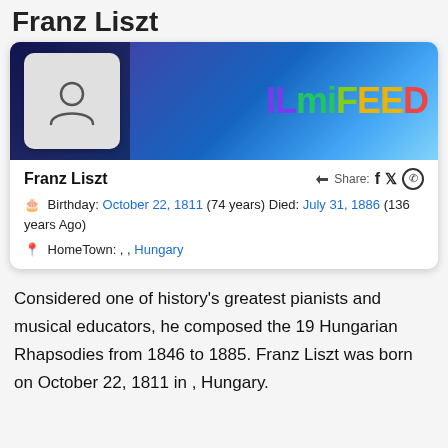Franz Liszt
[Figure (screenshot): FilmiFeed profile card for Franz Liszt showing a banner with FilmiFeed logo text in colorful letters, a person avatar placeholder, name, birthday, died date, and hometown]
Birthday: October 22, 1811 (74 years) Died: July 31, 1886 (136 years Ago)
HomeTown: , , Hungary
Considered one of history's greatest pianists and musical educators, he composed the 19 Hungarian Rhapsodies from 1846 to 1885. Franz Liszt was born on October 22, 1811 in , Hungary.